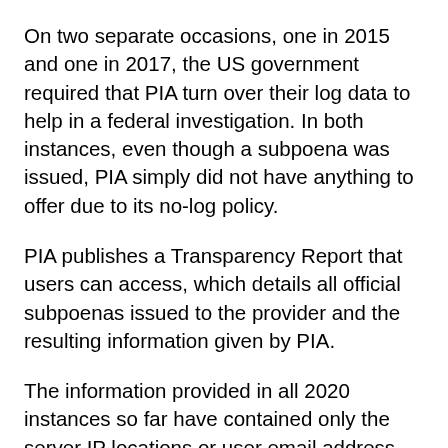On two separate occasions, one in 2015 and one in 2017, the US government required that PIA turn over their log data to help in a federal investigation. In both instances, even though a subpoena was issued, PIA simply did not have anything to offer due to its no-log policy.
PIA publishes a Transparency Report that users can access, which details all official subpoenas issued to the provider and the resulting information given by PIA.
The information provided in all 2020 instances so far have contained only the server IP locations or user email address and no user data at all.
The above instances, however, are still just PIA declaring that they do not log user data. This is why PIA has announced that they will be working on a "verifiably secure infrastructure" with the use of